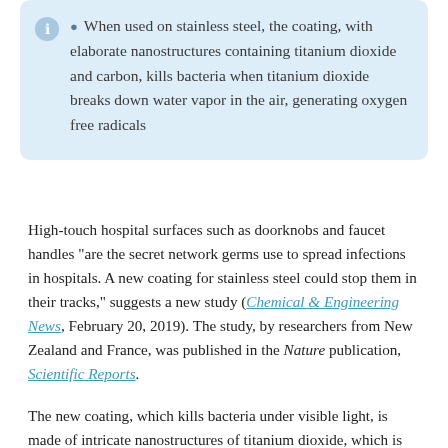When used on stainless steel, the coating, with elaborate nanostructures containing titanium dioxide and carbon, kills bacteria when titanium dioxide breaks down water vapor in the air, generating oxygen free radicals
High-touch hospital surfaces such as doorknobs and faucet handles "are the secret network germs use to spread infections in hospitals. A new coating for stainless steel could stop them in their tracks," suggests a new study (Chemical & Engineering News, February 20, 2019). The study, by researchers from New Zealand and France, was published in the Nature publication, Scientific Reports.
The new coating, which kills bacteria under visible light, is made of intricate nanostructures of titanium dioxide, which is made using chlorine chemistry. The coating has promise in the "big market for effective, low-cost coatings that can kill